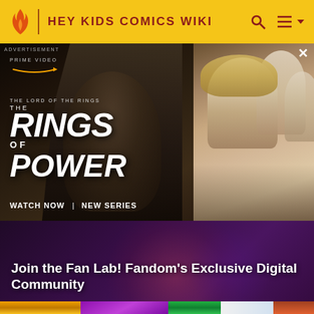HEY KIDS COMICS WIKI
[Figure (screenshot): Advertisement for Amazon Prime Video's 'The Lord of the Rings: The Rings of Power' series. Left side shows a dark, hooded stone-like figure with text 'prime video', 'THE LORD OF THE RINGS THE RINGS OF POWER', 'WATCH NOW | NEW SERIES'. Right side shows a blonde woman and other characters in a fantasy setting. An X close button is visible top-right.]
ADVERTISEMENT
prime video
THE LORD OF THE RINGS THE RINGS OF POWER
WATCH NOW | NEW SERIES
[Figure (screenshot): Promotional banner with dark purple/maroon background showing partial comic book artwork. White bold text reads 'Join the Fan Lab! Fandom's Exclusive Digital Community']
Join the Fan Lab! Fandom's Exclusive Digital Community
[Figure (illustration): Bottom strip showing colorful comic book characters artwork including animated superhero-style figures in yellow, magenta/purple, and teal/white colors against a dark background.]